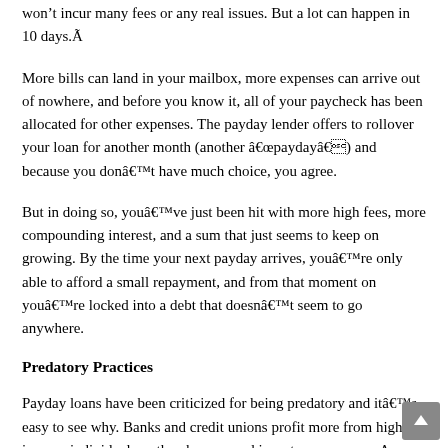won't incur many fees or any real issues. But a lot can happen in 10 days.
More bills can land in your mailbox, more expenses can arrive out of nowhere, and before you know it, all of your paycheck has been allocated for other expenses. The payday lender offers to rollover your loan for another month (another “payday”) and because you don’t have much choice, you agree.
But in doing so, you’ve just been hit with more high fees, more compounding interest, and a sum that just seems to keep on growing. By the time your next payday arrives, you’re only able to afford a small repayment, and from that moment on you’re locked into a debt that doesn’t seem to go anywhere.
Predatory Practices
Payday loans have been criticized for being predatory and it’s easy to see why. Banks and credit unions profit more from high-income individuals as they borrow and invest more money. A single high-